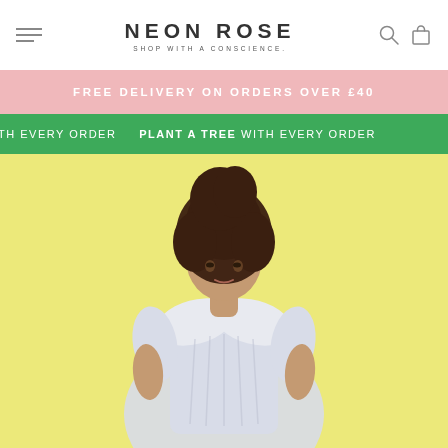NEON ROSE — SHOP WITH A CONSCIENCE.
FREE DELIVERY ON ORDERS OVER £40
PLANT A TREE WITH EVERY ORDER
[Figure (photo): Fashion model with curly hair wearing a white/light blue striped babydoll dress with large Peter Pan collar, photographed against a yellow-green background.]